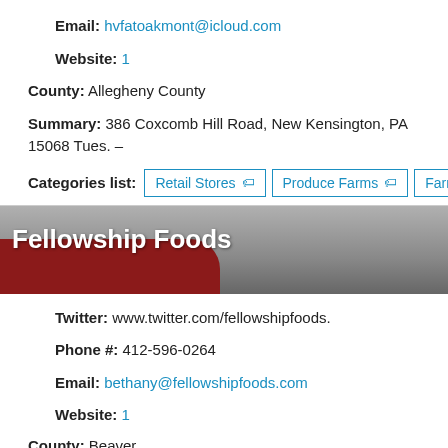Email: hvfatoakmont@icloud.com
Website: 1
County: Allegheny County
Summary: 386 Coxcomb Hill Road, New Kensington, PA 15068 Tues. –
Categories list: Retail Stores  Produce Farms  Farm Stands
[Figure (photo): Banner image for Fellowship Foods with dark gray background and red decorative element, white bold text reading 'Fellowship Foods']
Twitter: www.twitter.com/fellowshipfoods.
Phone #: 412-596-0264
Email: bethany@fellowshipfoods.com
Website: 1
County: Beaver
Summary:
Fellowship Foods provides locally obtained, home-based food to...